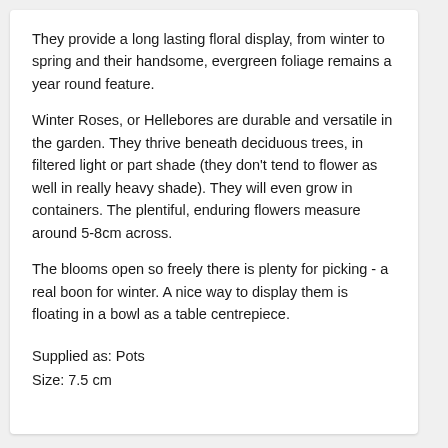They provide a long lasting floral display, from winter to spring and their handsome, evergreen foliage remains a year round feature.
Winter Roses, or Hellebores are durable and versatile in the garden. They thrive beneath deciduous trees, in filtered light or part shade (they don't tend to flower as well in really heavy shade). They will even grow in containers. The plentiful, enduring flowers measure around 5-8cm across.
The blooms open so freely there is plenty for picking - a real boon for winter. A nice way to display them is floating in a bowl as a table centrepiece.
Supplied as: Pots
Size: 7.5 cm